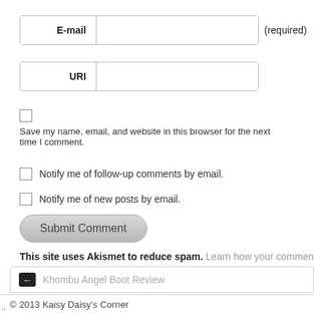E-mail (required)
URI
Save my name, email, and website in this browser for the next time I comment.
Notify me of follow-up comments by email.
Notify me of new posts by email.
Submit Comment
This site uses Akismet to reduce spam. Learn how your comment data is proces
Khombu Angel Boot Review
© 2013 Kaisy Daisy's Corner